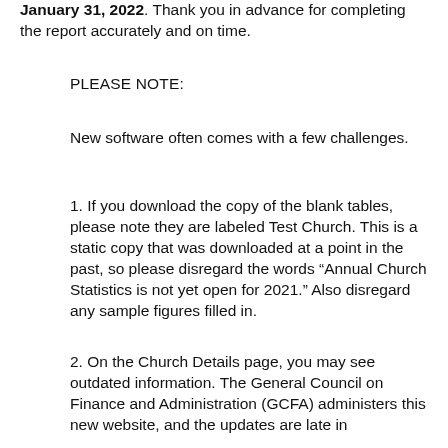January 31, 2022. Thank you in advance for completing the report accurately and on time.
PLEASE NOTE:
New software often comes with a few challenges.
1. If you download the copy of the blank tables, please note they are labeled Test Church. This is a static copy that was downloaded at a point in the past, so please disregard the words “Annual Church Statistics is not yet open for 2021.” Also disregard any sample figures filled in.
2. On the Church Details page, you may see outdated information. The General Council on Finance and Administration (GCFA) administers this new website, and the updates are late in